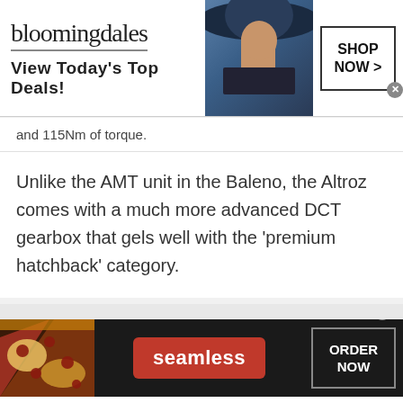[Figure (screenshot): Bloomingdale's advertisement banner: logo text 'bloomingdales', tagline 'View Today's Top Deals!', image of woman in wide-brim hat, 'SHOP NOW >' button with close X]
and 115Nm of torque.
Unlike the AMT unit in the Baleno, the Altroz comes with a much more advanced DCT gearbox that gels well with the 'premium hatchback' category.
[Figure (screenshot): Seamless food delivery advertisement banner: pizza image on left, red 'seamless' badge in center, 'ORDER NOW' button on right with close X]